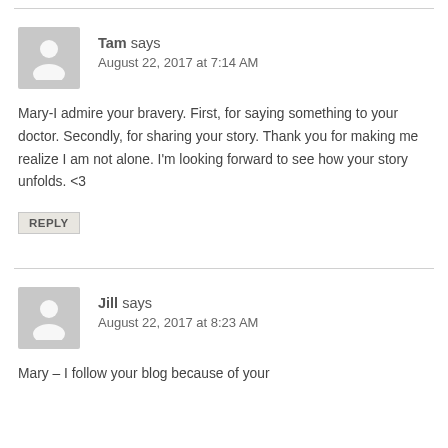Tam says
August 22, 2017 at 7:14 AM
Mary-I admire your bravery. First, for saying something to your doctor. Secondly, for sharing your story. Thank you for making me realize I am not alone. I'm looking forward to see how your story unfolds. <3
REPLY
Jill says
August 22, 2017 at 8:23 AM
Mary – I follow your blog because of your